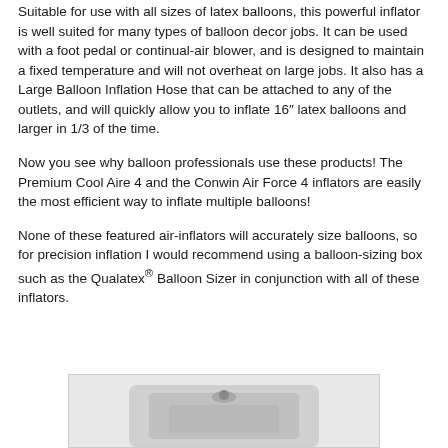Suitable for use with all sizes of latex balloons, this powerful inflator is well suited for many types of balloon decor jobs. It can be used with a foot pedal or continual-air blower, and is designed to maintain a fixed temperature and will not overheat on large jobs. It also has a Large Balloon Inflation Hose that can be attached to any of the outlets, and will quickly allow you to inflate 16″ latex balloons and larger in 1/3 of the time.
Now you see why balloon professionals use these products! The Premium Cool Aire 4 and the Conwin Air Force 4 inflators are easily the most efficient way to inflate multiple balloons!
None of these featured air-inflators will accurately size balloons, so for precision inflation I would recommend using a balloon-sizing box such as the Qualatex® Balloon Sizer in conjunction with all of these inflators.
[Figure (photo): Partial image of a balloon inflator device, white/silver colored, shown at the bottom of the page]